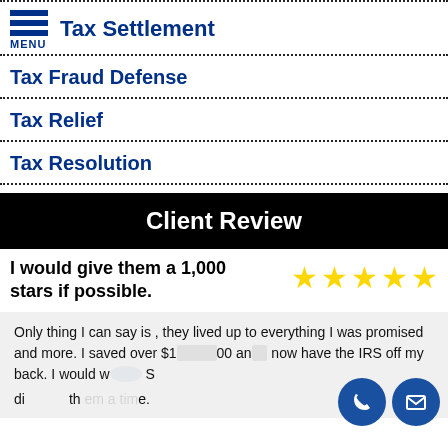Tax Settlement
Tax Fraud Defense
Tax Relief
Tax Resolution
Client Review
I would give them a 1,000 stars if possible.
Only thing I can say is , they lived up to everything I was promised and more. I saved over $1[x]00 and now have the IRS off my back. I would [w]r S[a] di[n] th[em] [a] [tim]e.